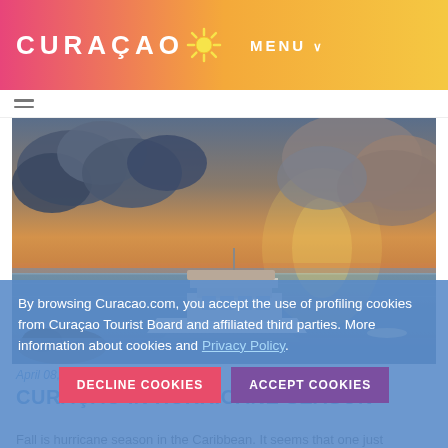CURAÇAO  MENU ∨
[Figure (photo): A boat on calm Caribbean waters at sunset with dramatic clouds in the sky, warm orange and blue tones.]
By browsing Curacao.com, you accept the use of profiling cookies from Curaçao Tourist Board and affiliated third parties. More information about cookies and Privacy Policy.
DECLINE COOKIES
ACCEPT COOKIES
April 08, 2017
CURAÇAO IN HURRICANE SEASON
Fall is hurricane season in the Caribbean. It seems that one just